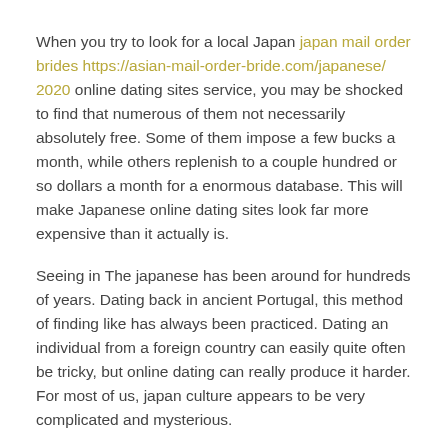When you try to look for a local Japan japan mail order brides https://asian-mail-order-bride.com/japanese/ 2020 online dating sites service, you may be shocked to find that numerous of them not necessarily absolutely free. Some of them impose a few bucks a month, while others replenish to a couple hundred or so dollars a month for a enormous database. This will make Japanese online dating sites look far more expensive than it actually is.
Seeing in The japanese has been around for hundreds of years. Dating back in ancient Portugal, this method of finding like has always been practiced. Dating an individual from a foreign country can easily quite often be tricky, but online dating can really produce it harder. For most of us, japan culture appears to be very complicated and mysterious.
Although the web has brought superb things to existence, it can also be a method to avoid being lonely and miss out on beauty of Japanese way of life. There are websites dedicated to